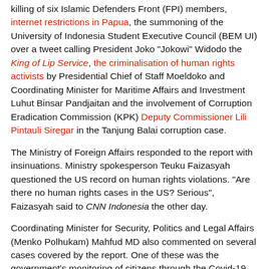killing of six Islamic Defenders Front (FPI) members, internet restrictions in Papua, the summoning of the University of Indonesia Student Executive Council (BEM UI) over a tweet calling President Joko "Jokowi" Widodo the King of Lip Service, the criminalisation of human rights activists by Presidential Chief of Staff Moeldoko and Coordinating Minister for Maritime Affairs and Investment Luhut Binsar Pandjaitan and the involvement of Corruption Eradication Commission (KPK) Deputy Commissioner Lili Pintauli Siregar in the Tanjung Balai corruption case.
The Ministry of Foreign Affairs responded to the report with insinuations. Ministry spokesperson Teuku Faizasyah questioned the US record on human rights violations. "Are there no human rights cases in the US? Serious", Faizasyah said to CNN Indonesia the other day.
Coordinating Minister for Security, Politics and Legal Affairs (Menko Polhukam) Mahfud MD also commented on several cases covered by the report. One of these was the government's monitoring of citizens through the Covid-19 tracing app PeduliLindungi (Care and Protect).